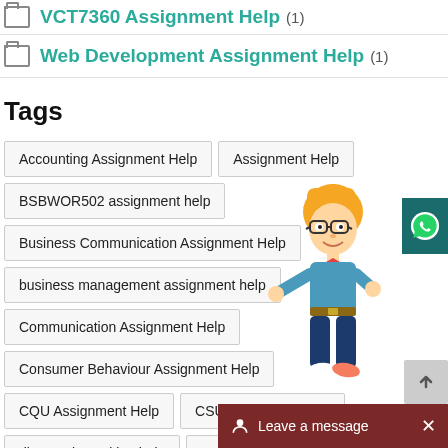VCT/360 Assignment Help (1)
Web Development Assignment Help (1)
Tags
Accounting Assignment Help
Assignment Help
BSBWOR502 assignment help
Business Communication Assignment Help
business management assignment help
Communication Assignment Help
Consumer Behaviour Assignment Help
CQU Assignment Help
CSU assignment help
dissertation writing help
Econo
[Figure (illustration): Cartoon mascot of a student boy with glasses, orange hair, blue shirt, bow tie, dark pants, standing and pointing]
[Figure (illustration): WhatsApp chat icon button on dark teal background]
Leave a message